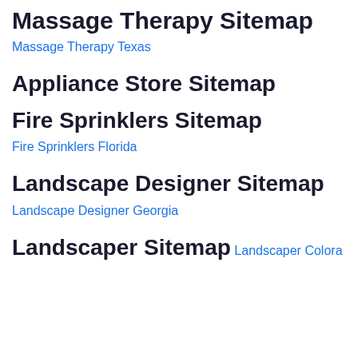Massage Therapy Sitemap
Massage Therapy Texas
Appliance Store Sitemap
Fire Sprinklers Sitemap
Fire Sprinklers Florida
Landscape Designer Sitemap
Landscape Designer Georgia
Landscaper Sitemap
Landscaper Colorado